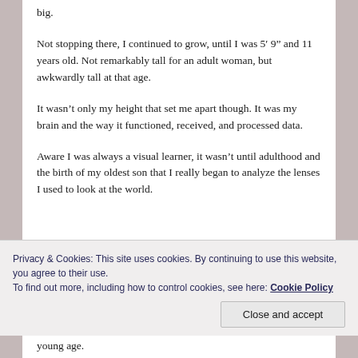big.
Not stopping there, I continued to grow, until I was 5′ 9” and 11 years old. Not remarkably tall for an adult woman, but awkwardly tall at that age.
It wasn’t only my height that set me apart though. It was my brain and the way it functioned, received, and processed data.
Aware I was always a visual learner, it wasn’t until adulthood and the birth of my oldest son that I really began to analyze the lenses I used to look at the world.
Privacy & Cookies: This site uses cookies. By continuing to use this website, you agree to their use.
To find out more, including how to control cookies, see here: Cookie Policy
young age.